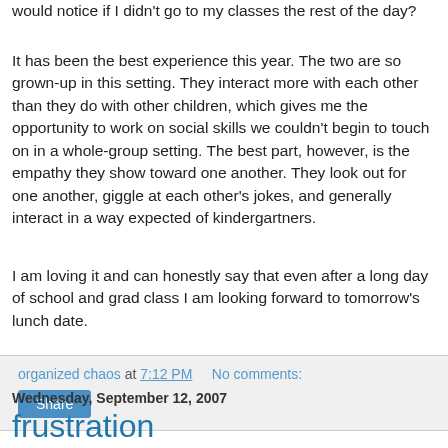would notice if I didn't go to my classes the rest of the day?
It has been the best experience this year. The two are so grown-up in this setting. They interact more with each other than they do with other children, which gives me the opportunity to work on social skills we couldn't begin to touch on in a whole-group setting. The best part, however, is the empathy they show toward one another. They look out for one another, giggle at each other's jokes, and generally interact in a way expected of kindergartners.
I am loving it and can honestly say that even after a long day of school and grad class I am looking forward to tomorrow's lunch date.
organized chaos at 7:12 PM   No comments:
Share
Wednesday, September 12, 2007
frustration